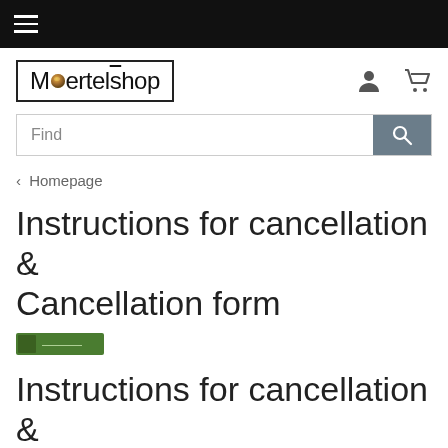≡
[Figure (logo): Moertelshop logo in a rectangular border, with a colored ball replacing the 'o' in Moertel]
Find
‹ Homepage
Instructions for cancellation & Cancellation form
[Figure (illustration): Small green badge/button graphic]
Instructions for cancellation & Cancellation form